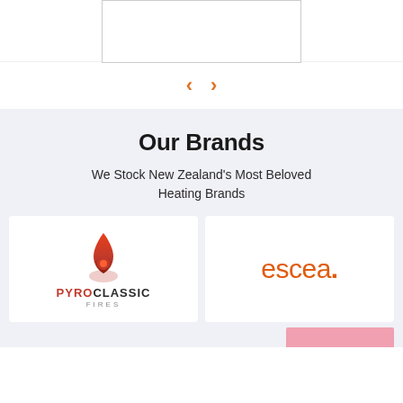[Figure (screenshot): Top portion showing a card placeholder with border, partially visible]
[Figure (other): Navigation arrows: left chevron and right chevron in orange]
Our Brands
We Stock New Zealand's Most Beloved Heating Brands
[Figure (logo): Pyroclassic Fires logo: flame icon above text PYROCLASSIC FIRES]
[Figure (logo): escea. logo in orange]